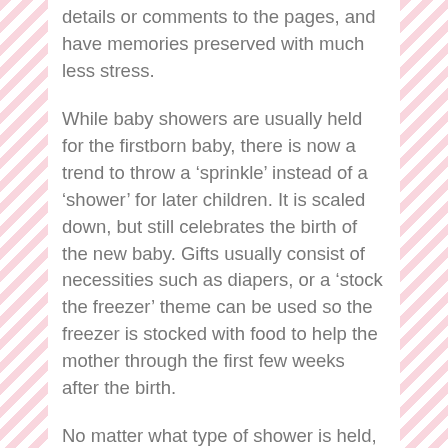details or comments to the pages, and have memories preserved with much less stress.
While baby showers are usually held for the firstborn baby, there is now a trend to throw a ‘sprinkle’ instead of a ‘shower’ for later children. It is scaled down, but still celebrates the birth of the new baby. Gifts usually consist of necessities such as diapers, or a ‘stock the freezer’ theme can be used so the freezer is stocked with food to help the mother through the first few weeks after the birth.
No matter what type of shower is held, celebrating the birth of an infant is always a wonderful time. Expressing all the love and hopes for the child brings friends and family